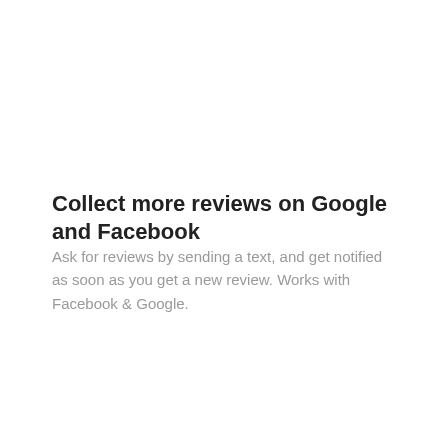Collect more reviews on Google and Facebook
Ask for reviews by sending a text, and get notified as soon as you get a new review. Works with Facebook & Google.